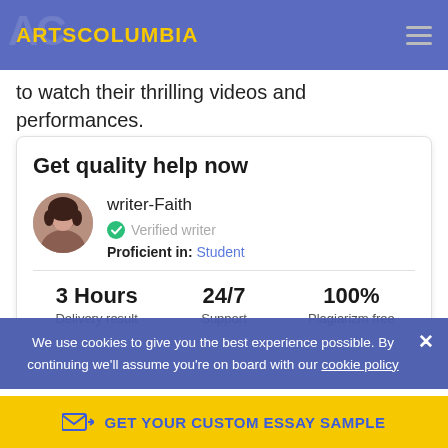ARTSCOLUMBIA
to watch their thrilling videos and performances.
Get quality help now
writer-Faith
Verified writer
Proficient in: Student
3 Hours
Delivery result
24/7
Support
100%
Plagiarizm free
We use cookies to give you the best experience possible. By continuing we'll assume you're on board with our cookie policy
GET YOUR CUSTOM ESSAY SAMPLE